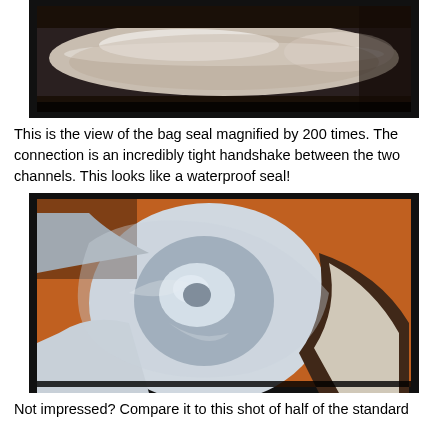[Figure (photo): Close-up microscope view of a bag seal magnified 200 times, showing a smooth cylindrical plastic surface with light reflections, displayed on a monitor screen with black border.]
This is the view of the bag seal magnified by 200 times. The connection is an incredibly tight handshake between the two channels. This looks like a waterproof seal!
[Figure (photo): Highly magnified microscope view of interlocking bag seal channels, showing a swirling, interlocked plastic structure in shades of white, silver, and brown, displayed on a monitor screen with black border.]
Not impressed? Compare it to this shot of half of the standard